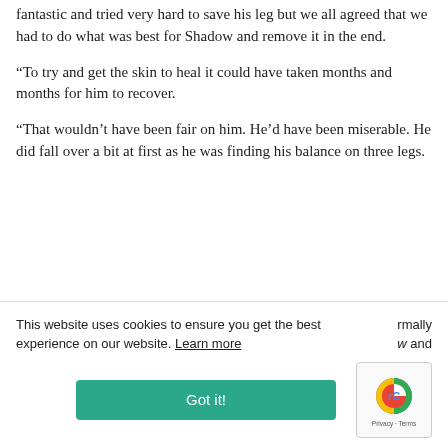fantastic and tried very hard to save his leg but we all agreed that we had to do what was best for Shadow and remove it in the end.
“To try and get the skin to heal it could have taken months and months for him to recover.
“That wouldn’t have been fair on him. He’d have been miserable. He did fall over a bit at first as he was finding his balance on three legs.
This website uses cookies to ensure you get the best experience on our website. Learn more
rmally w and
Got it!